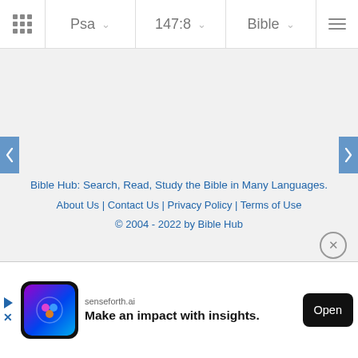Psa | 147:8 | Bible
Bible Hub: Search, Read, Study the Bible in Many Languages.
About Us | Contact Us | Privacy Policy | Terms of Use
© 2004 - 2022 by Bible Hub
[Figure (screenshot): Advertisement banner for senseforth.ai with logo, headline 'Make an impact with insights.' and Open button]
© 2004 - 2022 by Bible Hub